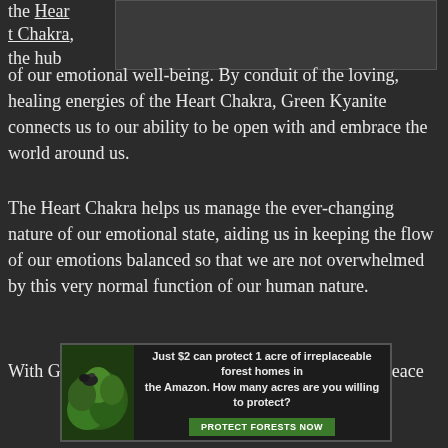the Heart Chakra, the hub
of our emotional well-being. By conduit of the loving, healing energies of the Heart Chakra, Green Kyanite connects us to our ability to be open with and embrace the world around us.
The Heart Chakra helps us manage the ever-changing nature of our emotional state, aiding us in keeping the flow of our emotions balanced so that we are not overwhelmed by this very normal function of our human nature.
With Green Kyanite, you will find it easier to make peace
[Figure (infographic): Advertisement banner: forest/Amazon conservation ad. Text reads 'Just $2 can protect 1 acre of irreplaceable forest homes in the Amazon. How many acres are you willing to protect?' with a green 'PROTECT FORESTS NOW' button. Left side shows an image with green foliage/forest.]